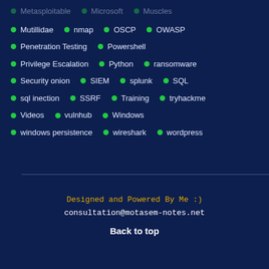Metasploitable
Microsoft
Muscles
Mutillidae
nmap
OSCP
OWASP
Penetration Testing
Powershell
Privilege Escalation
Python
ransomware
Security onion
SIEM
splunk
SQL
sql inection
SSRF
Training
tryhackme
Videos
vulnhub
Windows
windows persistence
wireshark
wordpress
Designed and Powered By Me :)
consultation@motasem-notes.net
Back to top